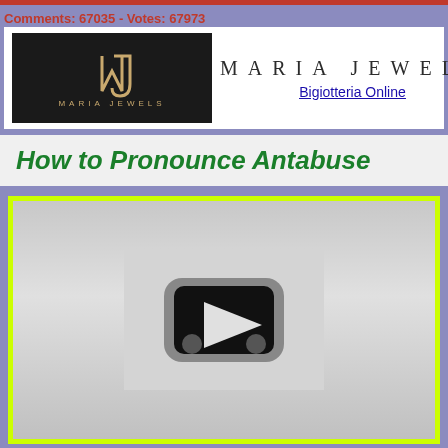Comments: 67035 - Votes: 67973
[Figure (logo): Maria Jewels logo on dark background with stylized MJ monogram and 'MARIA JEWELS' text below]
[Figure (logo): Maria Jewels banner with 'MARIA JEWELS' spaced text and 'Bigiotteria Online' link below]
How to Pronounce Antabuse
[Figure (screenshot): Video player thumbnail showing a grey background with a play button icon (rounded rectangle with triangle), indicating an embedded video for pronunciation of 'Antabuse']